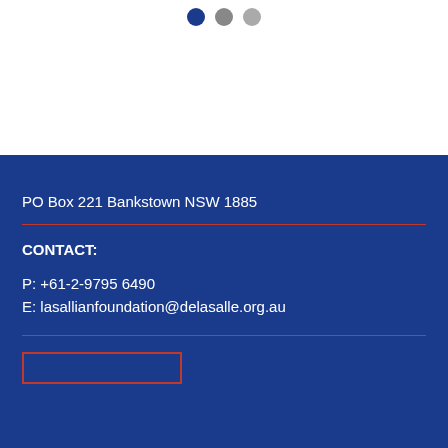[Figure (other): Three navigation dots: one dark blue (active), one medium grey, one light grey]
PO Box 221 Bankstown NSW 1885
CONTACT:
P: +61-2-9795 6490
E: lasallianfoundation@delasalle.org.au
[Figure (other): Red-outlined button/rectangle at bottom of blue section]